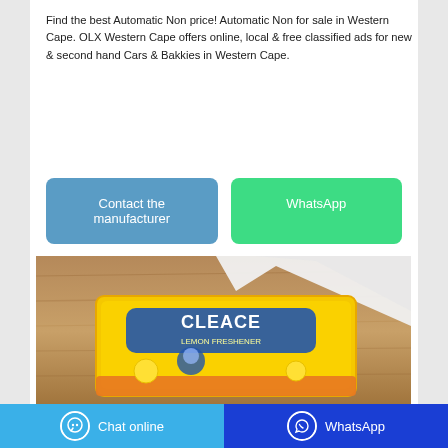Find the best Automatic Non price! Automatic Non for sale in Western Cape. OLX Western Cape offers online, local & free classified ads for new & second hand Cars & Bakkies in Western Cape.
[Figure (other): Two buttons side by side: 'Contact the manufacturer' (blue) and 'WhatsApp' (green)]
[Figure (photo): A yellow product package labeled 'CLEACE Lemon Freshener' lying on a wooden surface with a white cloth or tissue beside it.]
Chat online | WhatsApp